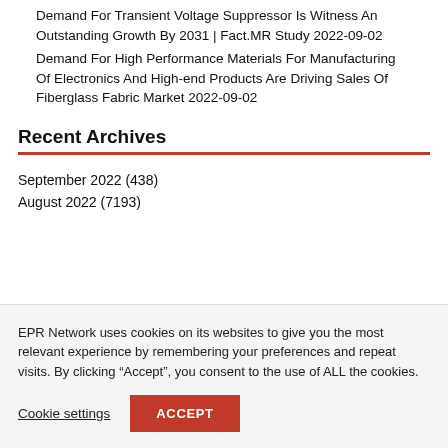Demand For Transient Voltage Suppressor Is Witness An Outstanding Growth By 2031 | Fact.MR Study 2022-09-02
Demand For High Performance Materials For Manufacturing Of Electronics And High-end Products Are Driving Sales Of Fiberglass Fabric Market 2022-09-02
Recent Archives
September 2022 (438)
August 2022 (7193)
EPR Network uses cookies on its websites to give you the most relevant experience by remembering your preferences and repeat visits. By clicking “Accept”, you consent to the use of ALL the cookies.